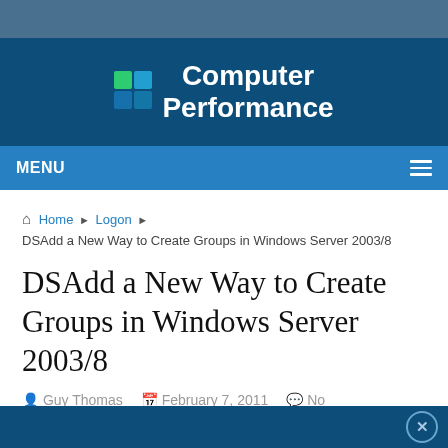Computer Performance
MENU
Home ▶ Logon ▶ DSAdd a New Way to Create Groups in Windows Server 2003/8
DSAdd a New Way to Create Groups in Windows Server 2003/8
Guy Thomas  February 7, 2011  No